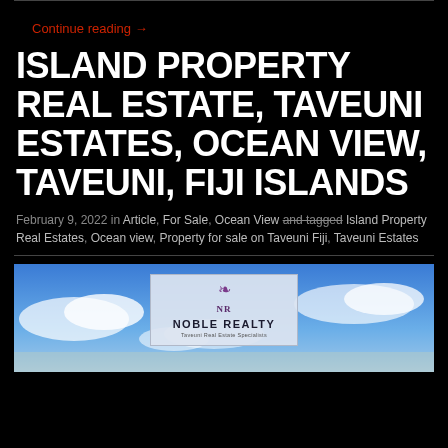Continue reading →
ISLAND PROPERTY REAL ESTATE, TAVEUNI ESTATES, OCEAN VIEW, TAVEUNI, FIJI ISLANDS
February 9, 2022 in Article, For Sale, Ocean View and tagged Island Property Real Estates, Ocean view, Property for sale on Taveuni Fiji, Taveuni Estates
[Figure (photo): Noble Realty logo overlaid on a blue sky with clouds photo]